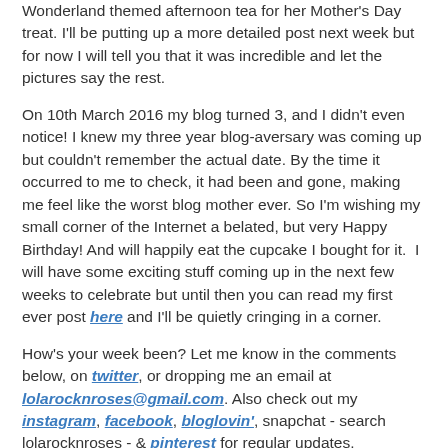Wonderland themed afternoon tea for her Mother's Day treat. I'll be putting up a more detailed post next week but for now I will tell you that it was incredible and let the pictures say the rest.
On 10th March 2016 my blog turned 3, and I didn't even notice! I knew my three year blog-aversary was coming up but couldn't remember the actual date. By the time it occurred to me to check, it had been and gone, making me feel like the worst blog mother ever. So I'm wishing my small corner of the Internet a belated, but very Happy Birthday! And will happily eat the cupcake I bought for it.  I will have some exciting stuff coming up in the next few weeks to celebrate but until then you can read my first ever post here and I'll be quietly cringing in a corner.
How's your week been? Let me know in the comments below, on twitter, or dropping me an email at lolarocknroses@gmail.com. Also check out my instagram, facebook, bloglovin', snapchat - search lolarocknroses - & pinterest for regular updates.
Love love love xxx